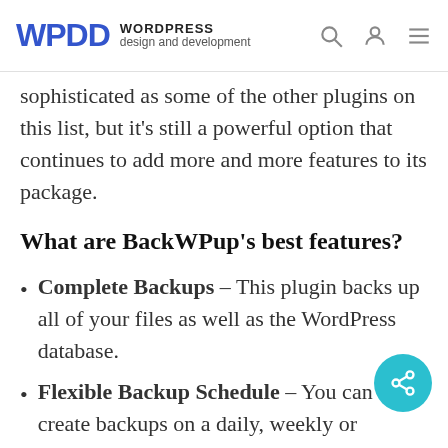WPDD WORDPRESS design and development
sophisticated as some of the other plugins on this list, but it’s still a powerful option that continues to add more and more features to its package.
What are BackWPup’s best features?
Complete Backups – This plugin backs up all of your files as well as the WordPress database.
Flexible Backup Schedule – You can create backups on a daily, weekly or